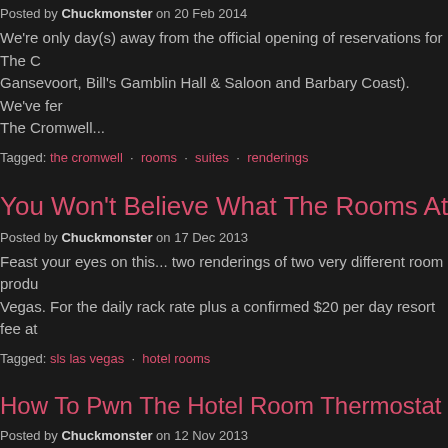Posted by Chuckmonster on 20 Feb 2014
We're only day(s) away from the official opening of reservations for The C Gansevoort, Bill's Gamblin Hall & Saloon and Barbary Coast). We've fe The Cromwell...
Tagged: the cromwell · rooms · suites · renderings
You Won't Believe What The Rooms At SLS Las Vegas L
Posted by Chuckmonster on 17 Dec 2013
Feast your eyes on this... two renderings of two very different room produ Vegas. For the daily rack rate plus a confirmed $20 per day resort fee at
Tagged: sls las vegas · hotel rooms
How To Pwn The Hotel Room Thermostat
Posted by Chuckmonster on 12 Nov 2013
Ever find yourself in a hotel room that won't let you adjust the thermostat accessible VIP mode in all Inncom thermostats. HOLD down display, tap
Tagged: hacking · hotel rooms